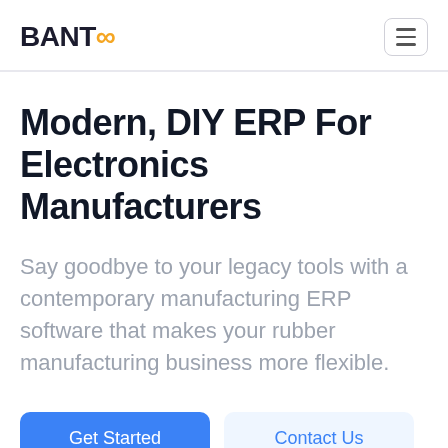BANTOO
Modern, DIY ERP For Electronics Manufacturers
Say goodbye to your legacy tools with a contemporary manufacturing ERP software that makes your rubber manufacturing business more flexible.
Get Started | Contact Us